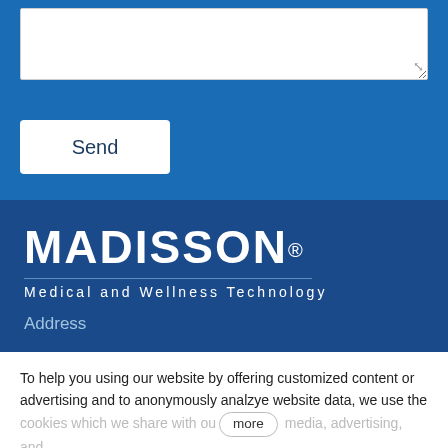[Figure (screenshot): Textarea input box with resize handle in top blue section]
Send
[Figure (logo): MADISSON® Medical and Wellness Technology logo on dark blue background]
Address
To help you using our website by offering customized content or advertising and to anonymously analzye website data, we use the cookies which we share with our more media, advertising, and
Settings > Allow all Allow required